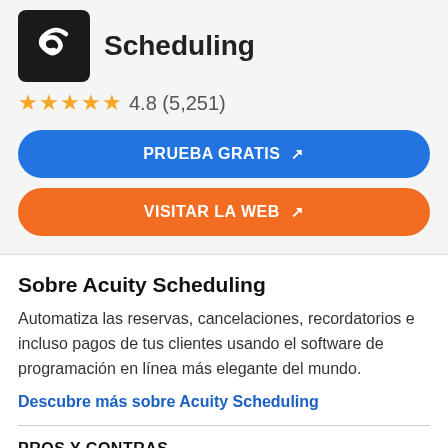Scheduling
4.8 (5,251)
PRUEBA GRATIS
VISITAR LA WEB
Sobre Acuity Scheduling
Automatiza las reservas, cancelaciones, recordatorios e incluso pagos de tus clientes usando el software de programación en línea más elegante del mundo.
Descubre más sobre Acuity Scheduling
PROS Y CONTRAS